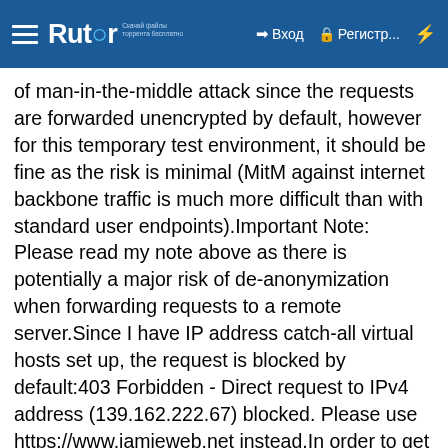Rutor — Вход — Регистр... — (lightning icon)
of man-in-the-middle attack since the requests are forwarded unencrypted by default, however for this temporary test environment, it should be fine as the risk is minimal (MitM against internet backbone traffic is much more difficult than with standard user endpoints).Important Note: Please read my note above as there is potentially a major risk of de-anonymization when forwarding requests to a remote server.Since I have IP address catch-all virtual hosts set up, the request is blocked by default:403 Forbidden - Direct request to IPv4 address (139.162.222.67) blocked. Please use https://www.jamieweb.net instead.In order to get around this, you can simply create a virtual host with the ServerName value set to the Onion address. In my configuration, I have the following (irrelevant lines removed):<VirtualHost 139.162.222.67:80> ServerName jamie3vkiwibfiwucd6vxijskbhpjdyajmzeor4mc4i7yopvpo4p7cyd.onion</VirtualHost>The request will no longer be blocked, allowing the hidden service to work as normal.Vanity AddressesEdit 7th Jan 2017 @ 12:01am: I have now written an entire blog post about Onion v3 vanity address generation,